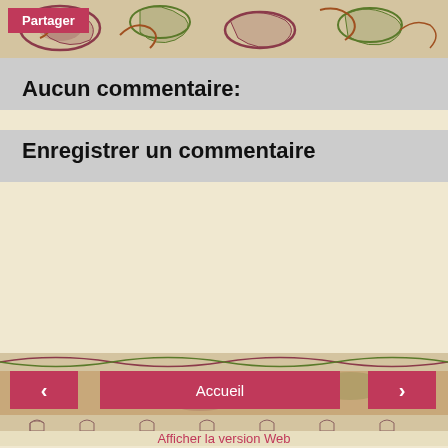[Figure (illustration): Decorative medieval/illuminated manuscript style ornamental border with floral and animal motifs in red, green on beige/cream background. 'Partager' button overlay.]
Partager
Aucun commentaire:
Enregistrer un commentaire
[Figure (illustration): Decorative ornamental border strip with floral motifs.]
‹
Accueil
›
Afficher la version Web
Qui êtes-vous ?
[Figure (photo): Portrait photo of Father Demets, a Catholic priest in black clerical attire.]
Father Demets
Québec, Canada
Prêtre catholique de la Fraternité Sacerdotale Saint-Pierre. Ordonné le 1er juillet 2000 à Wigratzbad ( Allemagne ) / am a Catholic Priest, member of the Fraternity of Saint Peter. I was ordained on July 1st 2000 in Wigratzbad ( Germany ).
Afficher mon profil complet
Fourni par Blogger